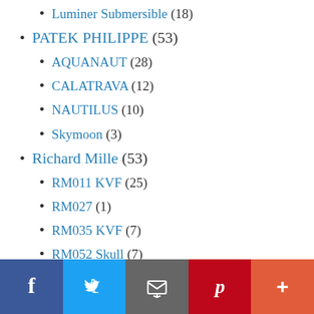Luminer Submersible (18)
PATEK PHILIPPE (53)
AQUANAUT (28)
CALATRAVA (12)
NAUTILUS (10)
Skymoon (3)
Richard Mille (53)
RM011 KVF (25)
RM027 (1)
RM035 KVF (7)
RM052 Skull (7)
RM055 KVF (11)
RM21 (1)
RM53 (1)
Social share bar: Facebook, Twitter, Email, Pinterest, More